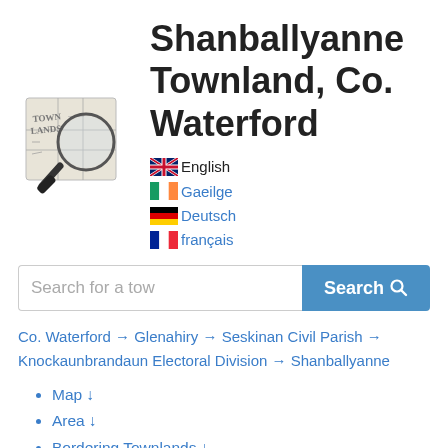[Figure (logo): Townlands magnifying glass logo showing a map with 'TOWN LANDS' text]
Shanballyanne Townland, Co. Waterford
English
Gaeilge
Deutsch
français
Search for a tow [Search button]
Co. Waterford → Glenahiry → Seskinan Civil Parish → Knockaunbrandaun Electoral Division → Shanballyanne
Map ↓
Area ↓
Bordering Townlands ↓
Subtownlands ↓
Records Search ↓